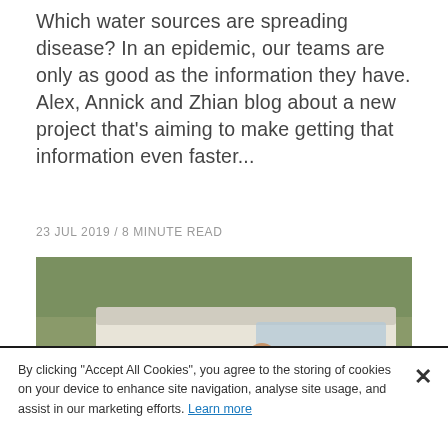Which water sources are spreading disease? In an epidemic, our teams are only as good as the information they have. Alex, Annick and Zhian blog about a new project that's aiming to make getting that information even faster...
23 JUL 2019 / 8 MINUTE READ
[Figure (photo): Four people standing in front of a white MSF (Médecins Sans Frontières) 4WD vehicle outdoors in a rural setting. The vehicle has MSF logos. There is a teal/turquoise banner at the bottom partially showing the text 'ALANNA JANSEN'.]
By clicking "Accept All Cookies", you agree to the storing of cookies on your device to enhance site navigation, analyse site usage, and assist in our marketing efforts. Learn more